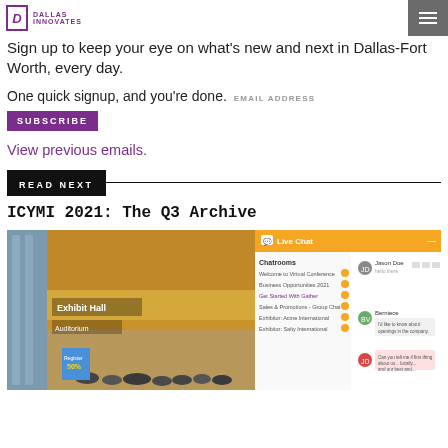Dallas Innovates
Sign up to keep your eye on what's new and next in Dallas-Fort Worth, every day.
One quick signup, and you're done.  EMAIL ADDRESS
SUBSCRIBE
View previous emails.
READ NEXT
ICYMI 2021: The Q3 Archive
[Figure (screenshot): Screenshot of a virtual conference platform showing an exhibit hall with live chat interface, chatrooms including 'Welcome to Virtual Conference', 'Business Opportunities 2021', 'Get Started With Gather', 'Sales & Promotions - Group Chat', 'Exhibitor: Acme International', 'Exhibitor: Salty International' and a chat conversation panel on the right side.]